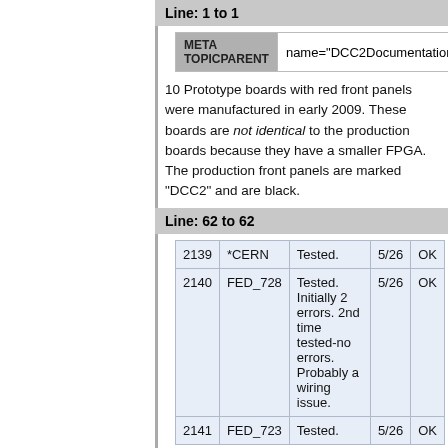Line: 1 to 1
| META TOPICPARENT | name="DCC2Documentation" |
| --- | --- |
10 Prototype boards with red front panels were manufactured in early 2009. These boards are not identical to the production boards because they have a smaller FPGA. The production front panels are marked "DCC2" and are black.
Line: 62 to 62
| 2139 | *CERN | Tested. | 5/26 | OK |
| 2140 | FED_728 | Tested. Initially 2 errors. 2nd time tested-no errors. Probably a wiring issue. | 5/26 | OK |
| 2141 | FED_723 | Tested. | 5/26 | OK |
Changed:
| 2142 | FED_727 | Tested. | 5/26 | OK |